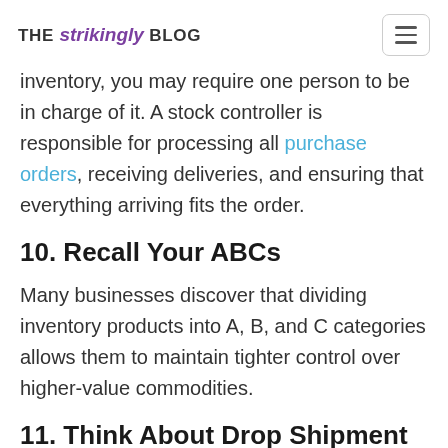THE strikingly BLOG
inventory, you may require one person to be in charge of it. A stock controller is responsible for processing all purchase orders, receiving deliveries, and ensuring that everything arriving fits the order.
10. Recall Your ABCs
Many businesses discover that dividing inventory products into A, B, and C categories allows them to maintain tighter control over higher-value commodities.
11. Think About Drop Shipment